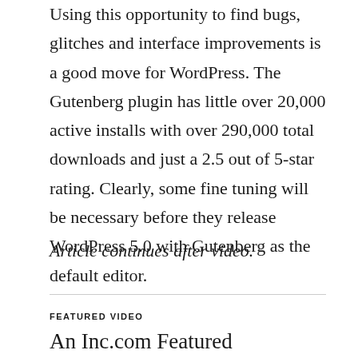Using this opportunity to find bugs, glitches and interface improvements is a good move for WordPress. The Gutenberg plugin has little over 20,000 active installs with over 290,000 total downloads and just a 2.5 out of 5-star rating. Clearly, some fine tuning will be necessary before they release WordPress 5.0 with Gutenberg as the default editor.
Article continues after video.
FEATURED VIDEO
An Inc.com Featured Presentation